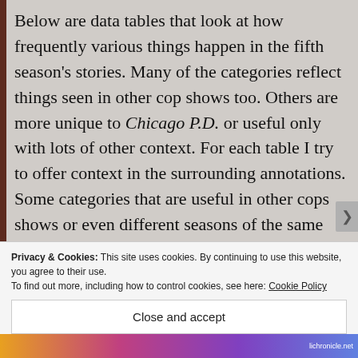Below are data tables that look at how frequently various things happen in the fifth season's stories. Many of the categories reflect things seen in other cop shows too. Others are more unique to Chicago P.D. or useful only with lots of other context. For each table I try to offer context in the surrounding annotations. Some categories that are useful in other cops shows or even different seasons of the same show are not always applicable to others so this data overview will have tables others do not and vice versa.
Privacy & Cookies: This site uses cookies. By continuing to use this website, you agree to their use. To find out more, including how to control cookies, see here: Cookie Policy
Close and accept